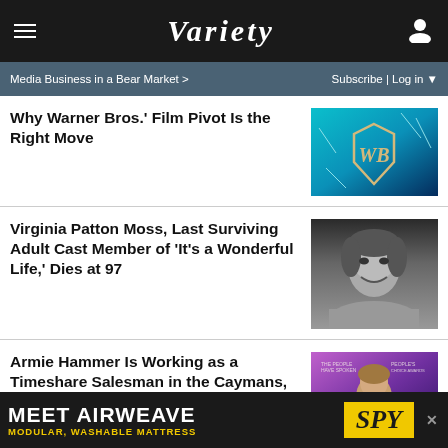VARIETY
Media Business in a Bear Market > | Subscribe | Log in
Why Warner Bros.' Film Pivot Is the Right Move
[Figure (photo): Warner Bros. logo on blue/teal shattered glass background]
Virginia Patton Moss, Last Surviving Adult Cast Member of 'It's a Wonderful Life,' Dies at 97
[Figure (photo): Black and white portrait photo of Virginia Patton Moss smiling]
Armie Hammer Is Working as a Timeshare Salesman in the Caymans, After All
[Figure (photo): Armie Hammer at E! People's Choice Awards on purple background]
MEET AIRWEAVE MODULAR, WASHABLE MATTRESS | SPY